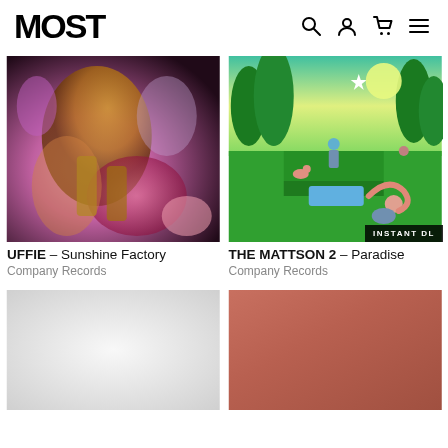MOST — navigation header with logo, search, user, cart, menu icons
[Figure (photo): Album art for UFFIE – Sunshine Factory, colorful abstract image with metallic gold and pink tones, stylized fashion figure]
[Figure (photo): Album art for THE MATTSON 2 – Paradise, illustrated surreal garden scene with figures in green tones, INSTANT DL badge]
UFFIE – Sunshine Factory
Company Records
THE MATTSON 2 – Paradise
Company Records
[Figure (photo): Partially visible album art, light gray/white gradient, bottom left]
[Figure (photo): Partially visible album art, copper/salmon color gradient, bottom right]